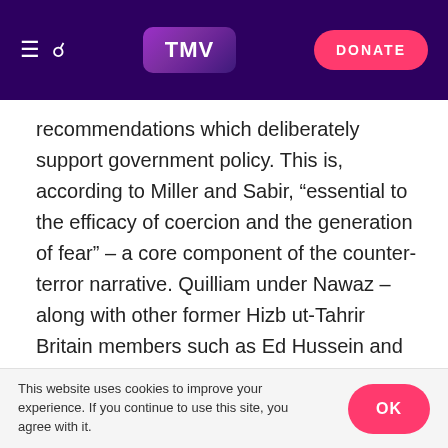TMV | DONATE
recommendations which deliberately support government policy. This is, according to Miller and Sabir, “essential to the efficacy of coercion and the generation of fear” – a core component of the counter-terror narrative. Quilliam under Nawaz – along with other former Hizb ut-Tahrir Britain members such as Ed Hussein and Shiraz Maher – have pushed a strong ideological approach to terrorism, suggesting that “the problem was not necessarily the associations we made with people who were naturally inclined to violence, but the problem was in the very ideas themselves”. This has
This website uses cookies to improve your experience. If you continue to use this site, you agree with it. OK